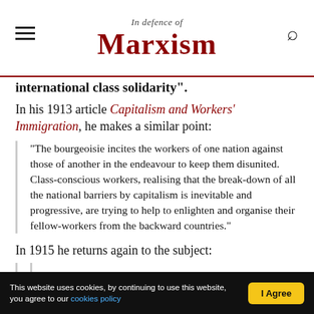In Defence of Marxism
international class solidarity”.
In his 1913 article Capitalism and Workers’ Immigration, he makes a similar point:
“The bourgeoisie incites the workers of one nation against those of another in the endeavour to keep them disunited. Class-conscious workers, realising that the break-down of all the national barriers by capitalism is inevitable and progressive, are trying to help to enlighten and organise their fellow-workers from the backward countries.”
In 1915 he returns again to the subject:
This website uses cookies, by continuing to use this website, you agree to our cookies policy